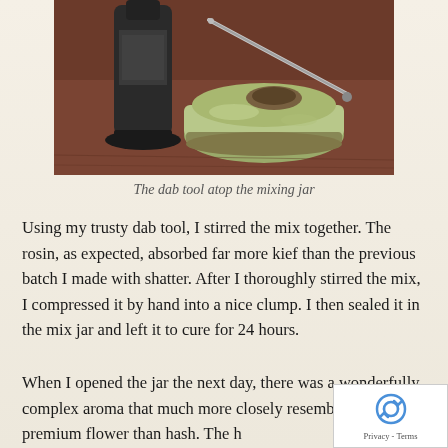[Figure (photo): A dab tool resting atop a ceramic mixing jar on a wooden surface, with a dark bottle in the background]
The dab tool atop the mixing jar
Using my trusty dab tool, I stirred the mix together. The rosin, as expected, absorbed far more kief than the previous batch I made with shatter. After I thoroughly stirred the mix, I compressed it by hand into a nice clump. I then sealed it in the mix jar and left it to cure for 24 hours.
When I opened the jar the next day, there was a wonderfully complex aroma that much more closely resembled a bud of premium flower than hash. The h